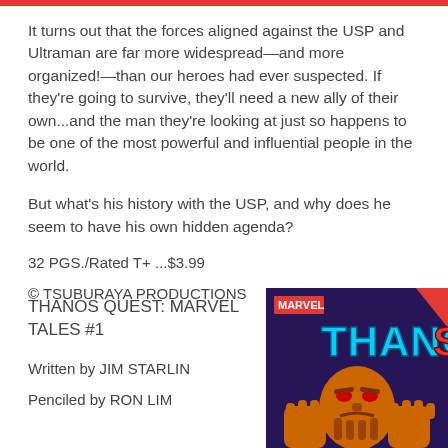It turns out that the forces aligned against the USP and Ultraman are far more widespread—and more organized!—than our heroes had ever suspected. If they're going to survive, they'll need a new ally of their own...and the man they're looking at just so happens to be one of the most powerful and influential people in the world.
But what's his history with the USP, and why does he seem to have his own hidden agenda?
32 PGS./Rated T+ ...$3.99
© TSUBURAYA PRODUCTIONS
THANOS QUEST: MARVEL TALES #1
Written by JIM STARLIN
Penciled by RON LIM
[Figure (illustration): Comic book cover for Thanos Quest: Marvel Tales #1 showing Thanos with the word THANOS in large letters on a dark background with Marvel logo]